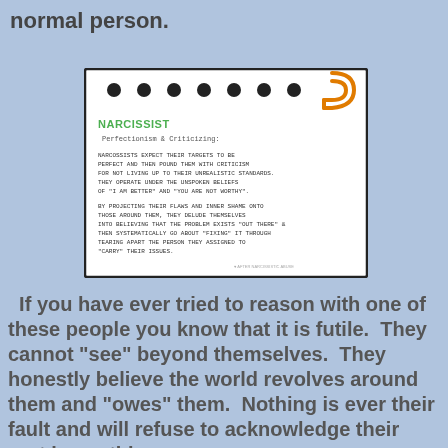normal person.
[Figure (illustration): A notecard with holes punched at the top and an orange paperclip, titled NARCISSIST, with subheading 'Perfectionism & Criticizing:' and two paragraphs of text in uppercase Courier font describing narcissistic behavior.]
If you have ever tried to reason with one of these people you know that it is futile.  They cannot "see" beyond themselves.  They honestly believe the world revolves around them and "owes" them.  Nothing is ever their fault and will refuse to acknowledge their part in anything,